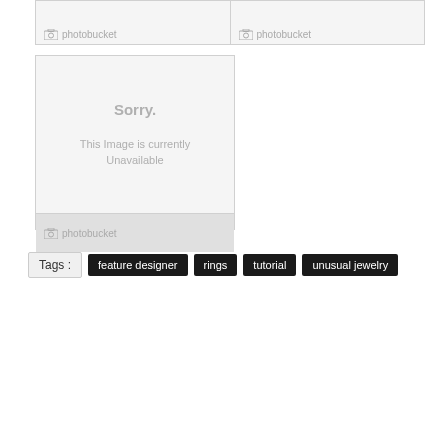[Figure (screenshot): Two photobucket placeholder image panels side by side at top]
[Figure (screenshot): Single photobucket placeholder with 'Sorry. This Image is currently Unavailable' message]
Tags : feature designer rings tutorial unusual jewelry